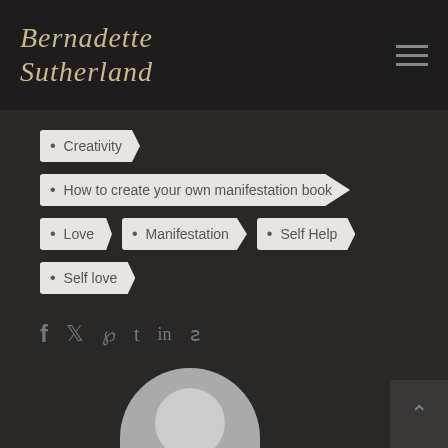Bernadette Sutherland
Creativity
How to create your own manifestation book
Love
Manifestation
Self Help
Self love
f  ɥ  ℗  t  in  ꙅ
[Figure (photo): Circular avatar/profile image placeholder at bottom of page]